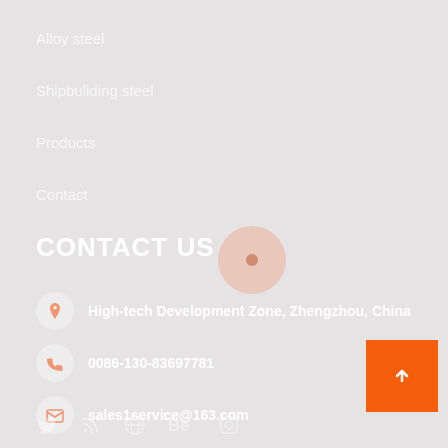Alloy steel
Shipbuliding steel
Products
Contact
CONTACT US
High-tech Development Zone, Zhengzhou, China
0086-130-83697781
sales1service@163.com